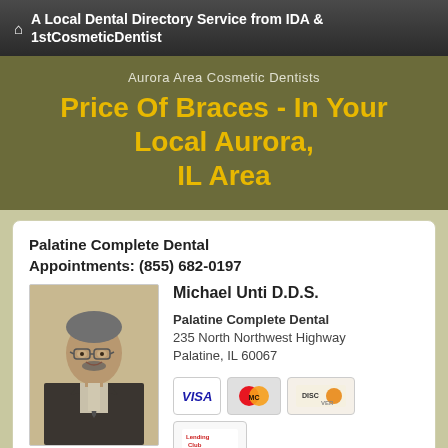A Local Dental Directory Service from IDA & 1stCosmeticDentist
Aurora Area Cosmetic Dentists
Price Of Braces - In Your Local Aurora, IL Area
Palatine Complete Dental
Appointments: (855) 682-0197
[Figure (photo): Headshot photo of Michael Unti D.D.S., a middle-aged man with glasses, salt-and-pepper hair, beard/mustache, wearing a dark suit and tie]
Michael Unti D.D.S.
Palatine Complete Dental
235 North Northwest Highway
Palatine, IL 60067
[Figure (other): Payment method icons: VISA, MasterCard, Discover, LendingClub]
Make Appt    Meet Dr. Unti    Website
more info ...